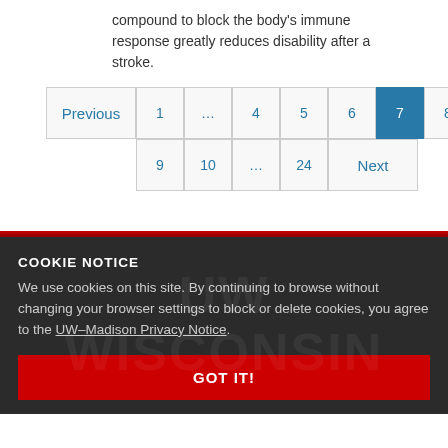compound to block the body's immune response greatly reduces disability after a stroke.
Previous 1 … 4 5 6 7 8 9 10 … 24 Next
COOKIE NOTICE
We use cookies on this site. By continuing to browse without changing your browser settings to block or delete cookies, you agree to the UW–Madison Privacy Notice.
GOT IT!